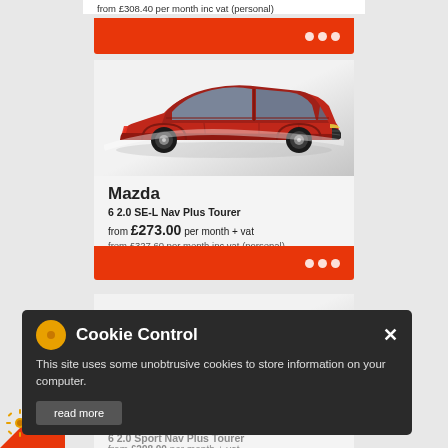from £308.40 per month inc vat (personal)
[Figure (photo): Red Mazda 6 estate/tourer car side view on light gradient background]
Mazda
6 2.0 SE-L Nav Plus Tourer
from £273.00 per month + vat
from £327.60 per month inc vat (personal)
[Figure (photo): Red Mazda 6 estate/tourer car side view on light gradient background]
Mazda
6 2.0 Sport Nav Plus Tourer
from £298.00 per month + vat
from £357.60 per month inc vat (personal)
Cookie Control
This site uses some unobtrusive cookies to store information on your computer.
read more